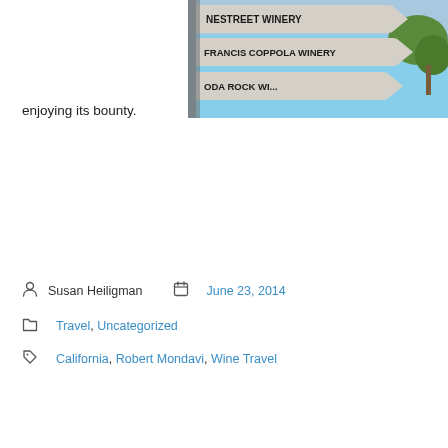[Figure (photo): Directional road signs pointing to various wineries including Simi Winery, Francis Coppola Winery, and Soda Rock Winery against a blue sky with trees]
enjoying its bounty.
Post author: Susan Heiligman  Post date: June 23, 2014
Post categories: Travel, Uncategorized
Post tags: California, Robert Mondavi, Wine Travel